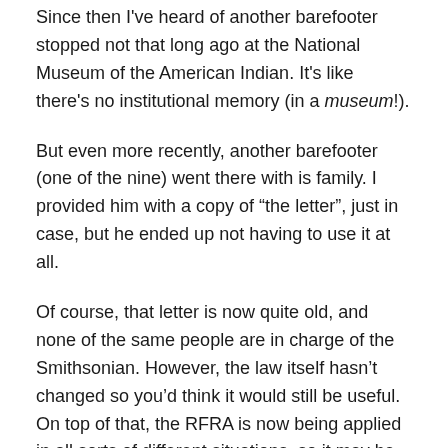Since then I've heard of another barefooter stopped not that long ago at the National Museum of the American Indian. It's like there's no institutional memory (in a museum!).
But even more recently, another barefooter (one of the nine) went there with is family. I provided him with a copy of “the letter”, just in case, but he ended up not having to use it at all.
Of course, that letter is now quite old, and none of the same people are in charge of the Smithsonian. However, the law itself hasn’t changed so you’d think it would still be useful. On top of that, the RFRA is now being applied in all sorts of different situations, so it may be that personnel are much more sensitive in that area.
I guess the bottom line here is fighting back can work out